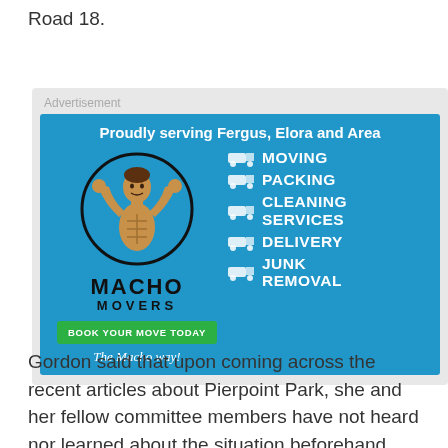Road 18.
[Figure (illustration): Advertisement for Macho Movers. Blue background with muscular man logo, services listed: MOVING, PACKING, CLEANING SERVICES, DELIVERY, JUNK REMOVAL. Green button: BOOK YOUR MOVE TODAY. Tagline: The Macho way!]
Gordon said that upon coming across the recent articles about Pierpoint Park, she and her fellow committee members have not heard nor learned about the situation beforehand, which raised a few